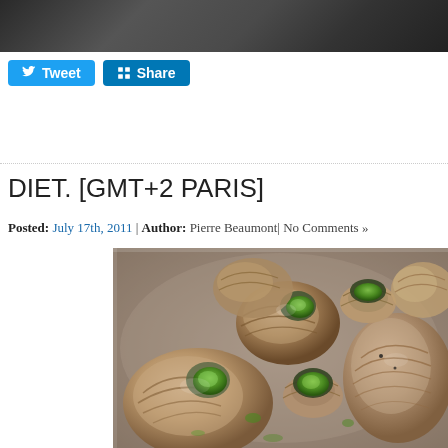Tweet | Share
DIET. [GMT+2 PARIS]
Posted: July 17th, 2011 | Author: Pierre Beaumont| No Comments »
[Figure (photo): Plate of escargot (snails) in their shells filled with green herb butter sauce, served on a metal tray]